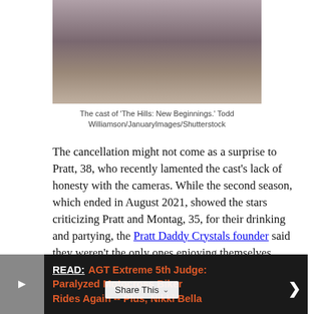[Figure (photo): Group photo of the cast of 'The Hills: New Beginnings' at an event, showing several people posing together]
The cast of 'The Hills: New Beginnings.' Todd Williamson/JanuaryImages/Shutterstock
The cancellation might not come as a surprise to Pratt, 38, who recently lamented the cast's lack of honesty with the cameras. While the second season, which ended in August 2021, showed the stars criticizing Pratt and Montag, 35, for their drinking and partying, the Pratt Daddy Crystals founder said they weren't the only ones enjoying themselves.
READ: AGT Extreme 5th Judge: Paralyzed Motocross Biker Rides Again -- Plus, Nikki Bella
Share This